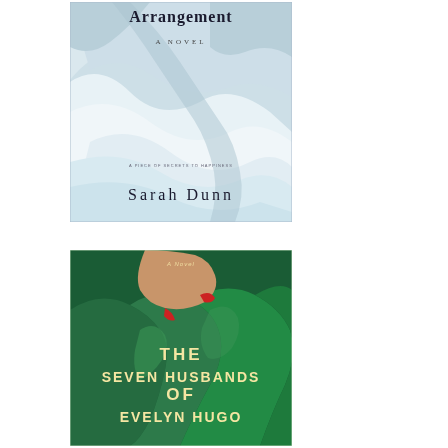[Figure (illustration): Book cover for 'The Arrangement: A Novel' by Sarah Dunn. Light blue/white background with rumpled white bedsheets. Subtitle text 'A NOVEL' and tagline 'A PIECE OF SECRETS TO HAPPINESS'. Author name 'Sarah Dunn' at bottom in large serif font.]
[Figure (illustration): Book cover for 'The Seven Husbands of Evelyn Hugo' — deep green background with a woman in a green satin dress, red nails visible. Title text in large bold gold/yellow serif letters across the cover.]